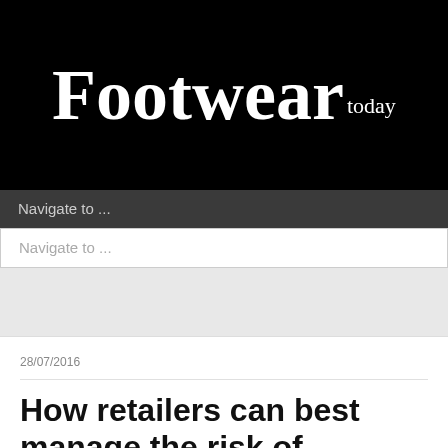[Figure (logo): Footwear Today magazine logo — white serif text on black background]
Navigate to ...
Navigate to ...
28/07/2016
How retailers can best manage the risk of dilapidations
[Figure (photo): Partial photo of a surface (flooring/documents), greyed out]
Richard